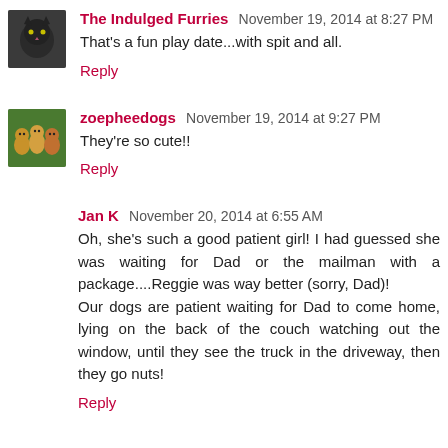The Indulged Furries November 19, 2014 at 8:27 PM
That's a fun play date...with spit and all.
Reply
zoepheedogs November 19, 2014 at 9:27 PM
They're so cute!!
Reply
Jan K November 20, 2014 at 6:55 AM
Oh, she's such a good patient girl! I had guessed she was waiting for Dad or the mailman with a package....Reggie was way better (sorry, Dad)!
Our dogs are patient waiting for Dad to come home, lying on the back of the couch watching out the window, until they see the truck in the driveway, then they go nuts!
Reply